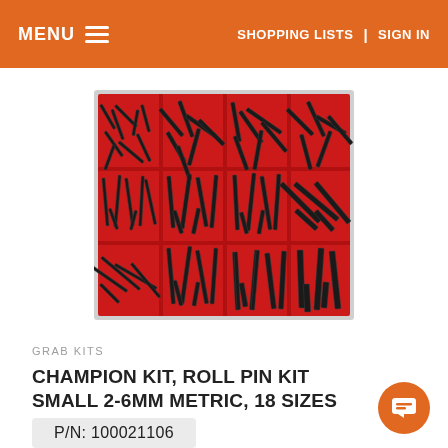MENU   SHOPPING LISTS | SIGN IN
[Figure (photo): Red organizer tray with multiple compartments containing black roll pins of various sizes arranged in 3 rows and 4 columns]
GRAB KITS
CHAMPION KIT, ROLL PIN KIT SMALL 2-6MM METRIC, 18 SIZES
P/N: 100021106